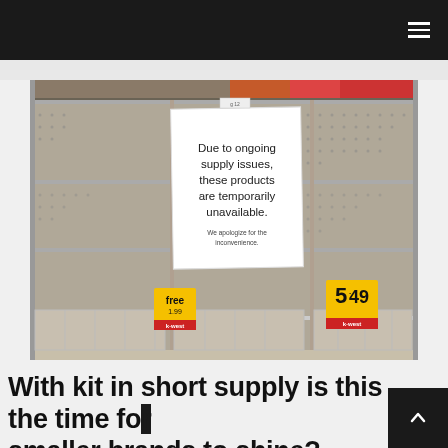Navigation menu
[Figure (photo): Empty store shelves in a supermarket with a sign reading: 'Due to ongoing supply issues, these products are temporarily unavailable. We apologize for the inconvenience.' Price tags visible: 'free' and '5.49' with Krowest branding.]
With kit in short supply is this the time for smaller brands to shine?